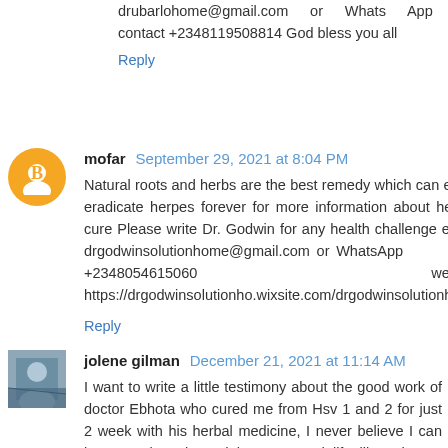drubarlohome@gmail.com or Whats App contact +2348119508814 God bless you all
Reply
mofar  September 29, 2021 at 8:04 PM
Natural roots and herbs are the best remedy which can easily eradicate herpes forever for more information about herpes cure Please write Dr. Godwin for any health challenge email: drgodwinsolutionhome@gmail.com or WhatsApp +2348054615060 website https://drgodwinsolutionho.wixsite.com/drgodwinsolutionhome
Reply
jolene gilman  December 21, 2021 at 11:14 AM
I want to write a little testimony about the good work of doctor Ebhota who cured me from Hsv 1 and 2 for just 2 week with his herbal medicine, I never believe I can be normal again and have a good life like others I always